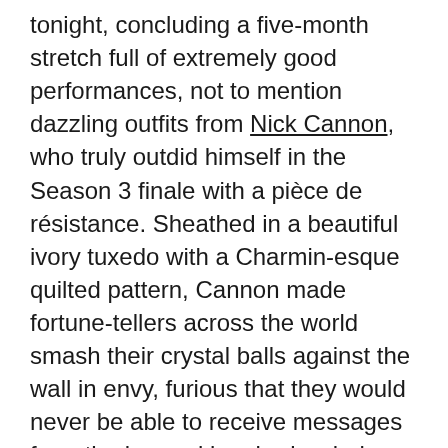tonight, concluding a five-month stretch full of extremely good performances, not to mention dazzling outfits from Nick Cannon, who truly outdid himself in the Season 3 finale with a pièce de résistance. Sheathed in a beautiful ivory tuxedo with a Charmin-esque quilted pattern, Cannon made fortune-tellers across the world smash their crystal balls against the wall in envy, furious that they would never be able to receive messages from the beyond in a bedazzled turban as elegant as Nick's. By the end of the episode, we had to reckon not only with the painful realization that we won't see Nick put Elton John to shame for a while but also the hurt of Season 3 ending -- and, for many people, seeing their presumed winner